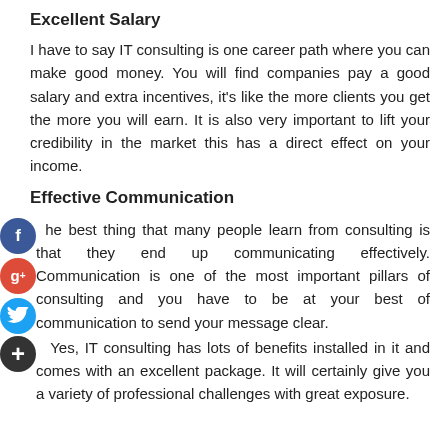Excellent Salary
I have to say IT consulting is one career path where you can make good money. You will find companies pay a good salary and extra incentives, it's like the more clients you get the more you will earn. It is also very important to lift your credibility in the market this has a direct effect on your income.
Effective Communication
The best thing that many people learn from consulting is that they end up communicating effectively. Communication is one of the most important pillars of consulting and you have to be at your best of communication to send your message clear.
Yes, IT consulting has lots of benefits installed in it and comes with an excellent package. It will certainly give you a variety of professional challenges with great exposure.